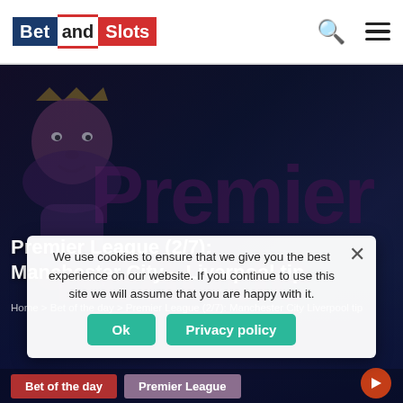Bet and Slots
[Figure (screenshot): Hero banner with Premier League background image showing the Premier League lion crest and 'Premier League' text in dark purple/blue tones]
Premier League (2/7): Manchester City – Liverpool tip
Home > Bet of the day > Premier League (2/7): Manchester City Liverpool tip
We use cookies to ensure that we give you the best experience on our website. If you continue to use this site we will assume that you are happy with it.
Ok
Privacy policy
Bet of the day
Premier League